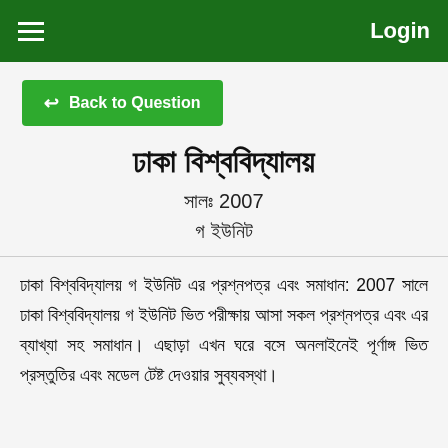Login
Back to Question
ঢাকা বিশ্ববিদ্যালয়
সালঃ 2007
গ ইউনিট
ঢাকা বিশ্ববিদ্যালয় গ ইউনিট এর প্রশ্নপত্র এবং সমাধান: 2007 সালে ঢাকা বিশ্ববিদ্যালয় গ ইউনিট ভিত পরীক্ষায় আসা সকল প্রশ্নপত্র এবং এর ব্যাখ্যা সহ সমাধান। এছাড়া এখন ঘরে বসে অনলাইনেই পূর্ণাঙ্গ ভিত প্রস্তুতির এবং মডেল টেষ্ট দেওয়ার সুব্যবস্থা।